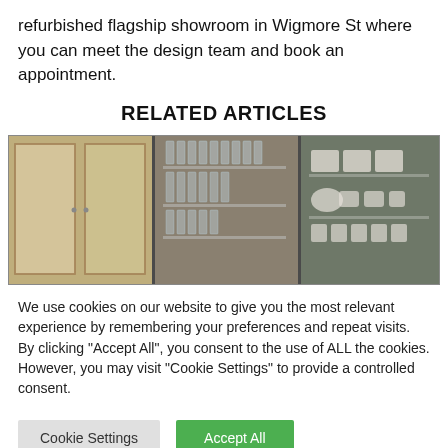refurbished flagship showroom in Wigmore St where you can meet the design team and book an appointment.
RELATED ARTICLES
[Figure (photo): Three cabinet panels showing kitchen/display storage units: left panel with light wood doors, center panel with glass shelves holding glasses, right panel with metal shelves holding dishes and crockery.]
We use cookies on our website to give you the most relevant experience by remembering your preferences and repeat visits. By clicking "Accept All", you consent to the use of ALL the cookies. However, you may visit "Cookie Settings" to provide a controlled consent.